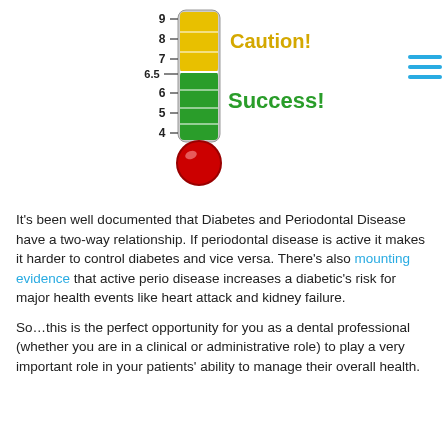[Figure (infographic): A thermometer graphic showing HbA1c levels. The bulb at the bottom is red. The tube shows green sections labeled 4, 5, 6, 6.5 with 'Success!' in green text beside the green zone, and yellow/orange sections labeled 7, 8, 9 with 'Caution!' in yellow/orange text beside the caution zone. A hamburger menu icon (three cyan horizontal lines) appears in the top-right corner.]
It's been well documented that Diabetes and Periodontal Disease have a two-way relationship. If periodontal disease is active it makes it harder to control diabetes and vice versa. There's also mounting evidence that active perio disease increases a diabetic's risk for major health events like heart attack and kidney failure.
So…this is the perfect opportunity for you as a dental professional (whether you are in a clinical or administrative role) to play a very important role in your patients' ability to manage their overall health.